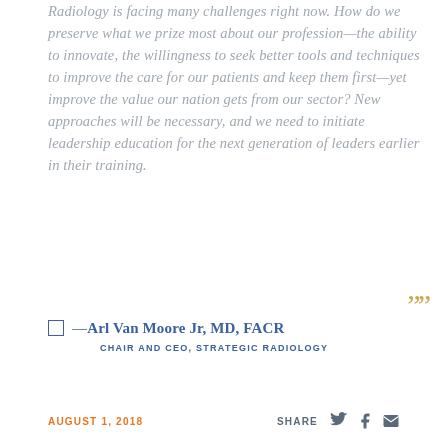Radiology is facing many challenges right now. How do we preserve what we prize most about our profession—the ability to innovate, the willingness to seek better tools and techniques to improve the care for our patients and keep them first—yet improve the value our nation gets from our sector? New approaches will be necessary, and we need to initiate leadership education for the next generation of leaders earlier in their training.
—Arl Van Moore Jr, MD, FACR
CHAIR AND CEO, STRATEGIC RADIOLOGY
AUGUST 1, 2018   SHARE